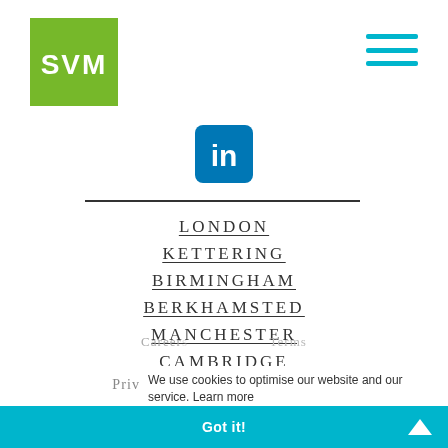[Figure (logo): SVM logo: green square background with white text 'SVM']
[Figure (other): Hamburger menu icon: three horizontal teal lines]
[Figure (logo): LinkedIn icon: blue rounded square with white 'in' text]
LONDON
KETTERING
BIRMINGHAM
BERKHAMSTED
MANCHESTER
CAMBRIDGE
Careers    Terms
Privacy Policy    Brochure
We use cookies to optimise our website and our service. Learn more
Got it!